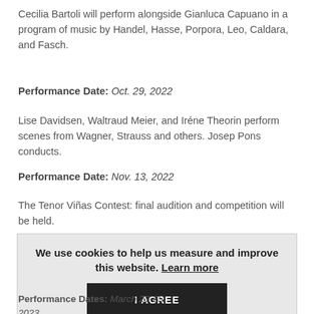Cecilia Bartoli will perform alongside Gianluca Capuano in a program of music by Handel, Hasse, Porpora, Leo, Caldara, and Fasch.
Performance Date: Oct. 29, 2022
Lise Davidsen, Waltraud Meier, and Iréne Theorin perform scenes from Wagner, Strauss and others. Josep Pons conducts.
Performance Date: Nov. 13, 2022
The Tenor Viñas Contest: final audition and competition will be held.
[Figure (screenshot): Cookie consent banner with text 'We use cookies to help us measure and improve this website. Learn more' and a black 'I AGREE' button.]
Performance Dates: March 23-25, 2023